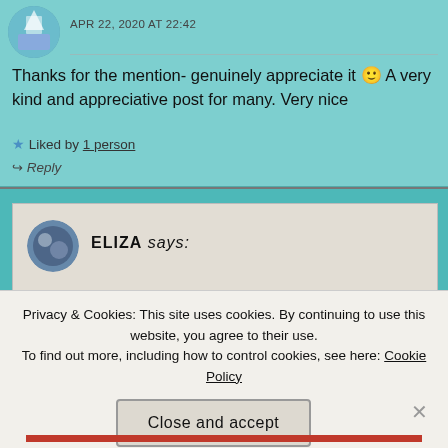APR 22, 2020 AT 22:42
Thanks for the mention- genuinely appreciate it 🙂 A very kind and appreciative post for many. Very nice
★ Liked by 1 person
↪ Reply
ELIZA says:
Privacy & Cookies: This site uses cookies. By continuing to use this website, you agree to their use.
To find out more, including how to control cookies, see here: Cookie Policy
Close and accept